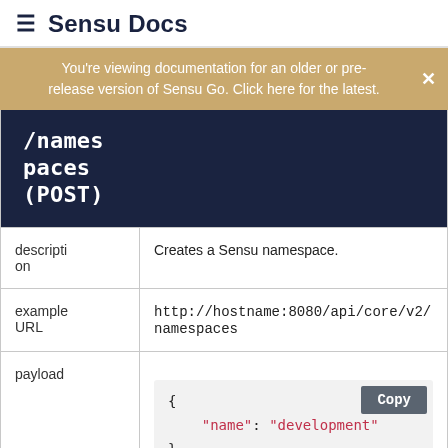≡ Sensu Docs
You're viewing documentation for an older or pre-release version of Sensu Go. Click here for the latest.
| /namespaces (POST) |
| --- |
| description | Creates a Sensu namespace. |
| example URL | http://hostname:8080/api/core/v2/namespaces |
| payload | {
    "name": "development"
} |